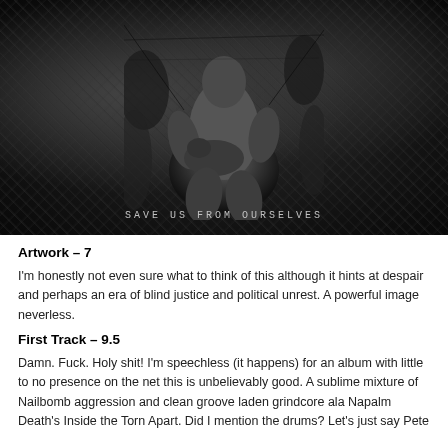[Figure (photo): Black and white heavy metal album artwork showing a dark chaotic scene with a central figure in a pose reminiscent of Michelangelo's Pieta, surrounded by chaotic imagery. Text at the bottom reads 'SAVE US FROM OURSELVES'.]
Artwork – 7
I'm honestly not even sure what to think of this although it hints at despair and perhaps an era of blind justice and political unrest. A powerful image neverless.
First Track – 9.5
Damn. Fuck. Holy shit! I'm speechless (it happens) for an album with little to no presence on the net this is unbelievably good. A sublime mixture of Nailbomb aggression and clean groove laden grindcore ala Napalm Death's Inside the Torn Apart. Did I mention the drums? Let's just say Pete